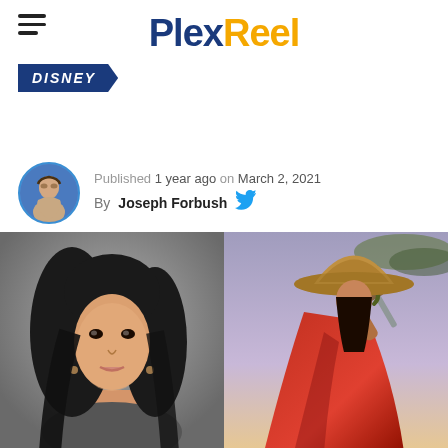PlexReel
DISNEY
Published 1 year ago on March 2, 2021
By Joseph Forbush
[Figure (photo): Left: headshot of a young Asian woman with long black hair against a grey background. Right: illustrated Disney animated character Raya wearing a conical hat and red cape, holding a sword, against a purple-sky background.]